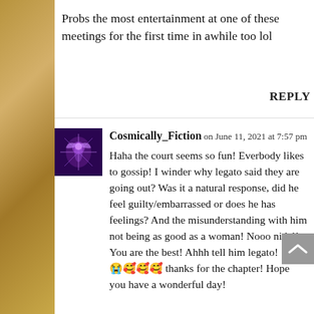Probs the most entertainment at one of these meetings for the first time in awhile too lol
REPLY
Cosmically_Fiction on June 11, 2021 at 7:57 pm
Haha the court seems so fun! Everbody likes to gossip! I winder why legato said they are going out? Was it a natural response, did he feel guilty/embarrassed or does he has feelings? And the misunderstanding with him not being as good as a woman! Nooo nidel! You are the best! Ahhh tell him legato! 😭😭🥰🥰🥰 thanks for the chapter! Hope you have a wonderful day!